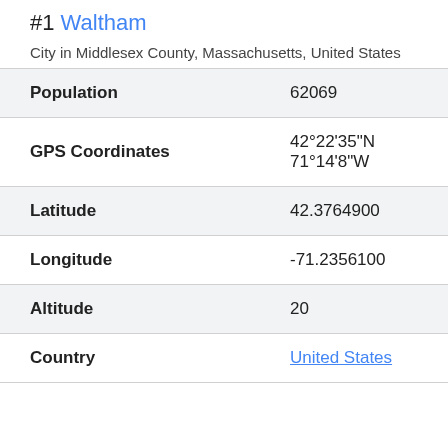#1 Waltham
City in Middlesex County, Massachusetts, United States
| Property | Value |
| --- | --- |
| Population | 62069 |
| GPS Coordinates | 42°22'35"N 71°14'8"W |
| Latitude | 42.3764900 |
| Longitude | -71.2356100 |
| Altitude | 20 |
| Country | United States |